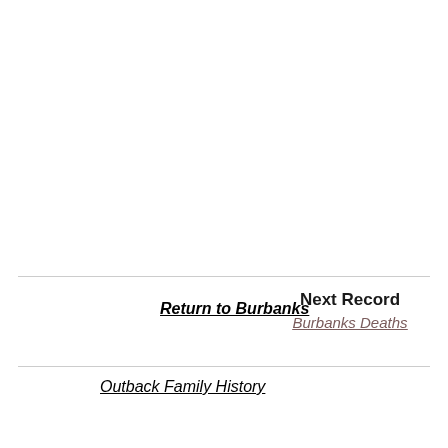Return to Burbanks
Next Record
Burbanks Deaths
Outback Family History